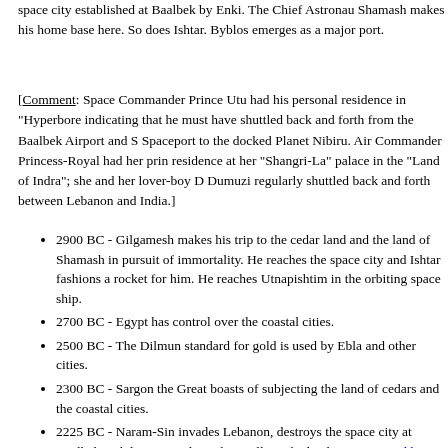space city established at Baalbek by Enki. The Chief Astronaut Shamash makes his home base here. So does Ishtar. Byblos emerges as a major port.
[Comment: Space Commander Prince Utu had his personal residence in "Hyperborea" indicating that he must have shuttled back and forth from the Baalbek Airport and Sinai Spaceport to the docked Planet Nibiru. Air Commander Princess-Royal had her principal residence at her "Shangri-La" palace in the "Land of Indra"; she and her lover-boy Dumuzi regularly shuttled back and forth between Lebanon and India.]
2900 BC - Gilgamesh makes his trip to the cedar land and the land of Shamash in pursuit of immortality. He reaches the space city and Ishtar fashions a rocket for him. He reaches Utnapishtim in the orbiting space ship.
2700 BC - Egypt has control over the coastal cities.
2500 BC - The Dilmun standard for gold is used by Ebla and other cities.
2300 BC - Sargon the Great boasts of subjecting the land of cedars and the coastal cities.
2225 BC - Naram-Sin invades Lebanon, destroys the space city at Baalbek and devastates the Bekaa Valley. The lands are poisoned by radioactivity and remain unoccupied for centuries. Space city is never rebuilt.